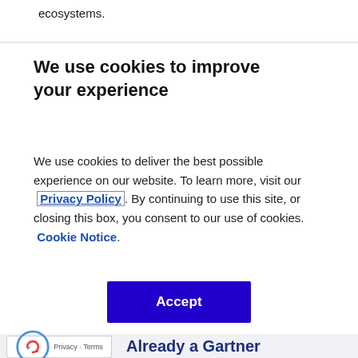ecosystems.
We use cookies to improve your experience
We use cookies to deliver the best possible experience on our website. To learn more, visit our Privacy Policy. By continuing to use this site, or closing this box, you consent to our use of cookies. Cookie Notice.
Accept
Already a Gartner client?
Log In ↗